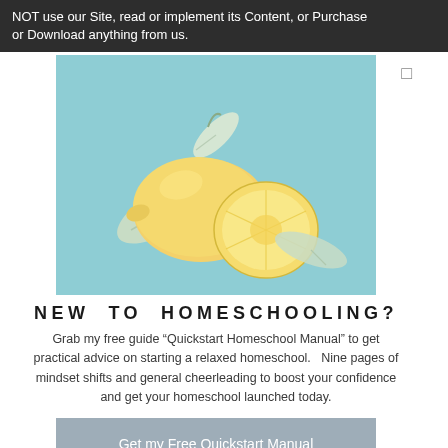NOT use our Site, read or implement its Content, or Purchase or Download anything from us.
[Figure (illustration): Teal/mint background illustration of lemons with leaves]
NEW TO HOMESCHOOLING?
Grab my free guide “Quickstart Homeschool Manual” to get practical advice on starting a relaxed homeschool.   Nine pages of mindset shifts and general cheerleading to boost your confidence and get your homeschool launched today.
Get my Free Quickstart Manual
[Figure (other): Social media icons: Pinterest, Instagram, YouTube, Etsy]
6. Intellectual Property Ownership:
The Site and its Content are intellectual property solely owned...